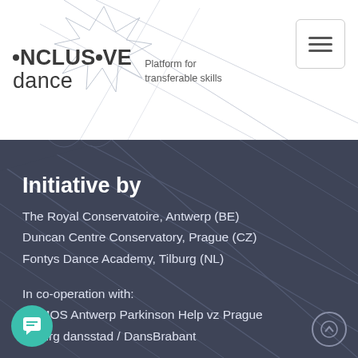[Figure (logo): Inclusive Dance logo with geometric star/polygon lines and text 'NCLUS•VE dance' with tagline 'Platform for transferable skills']
Initiative by
The Royal Conservatoire, Antwerp (BE)
Duncan Centre Conservatory, Prague (CZ)
Fontys Dance Academy, Tilburg (NL)
In co-operation with:
DEMOS Antwerp Parkinson Help vz Prague
Tilburg dansstad / DansBrabant
Terms and conditions
ns and conditions